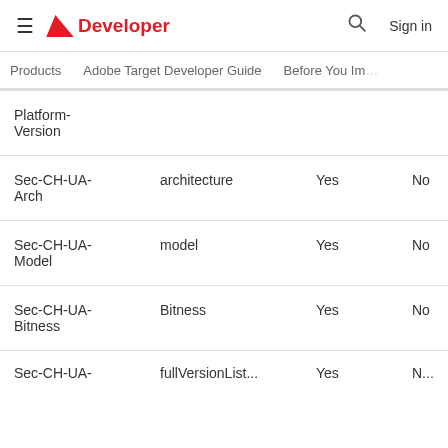≡ Adobe Developer Sign in
Products  Adobe Target Developer Guide  Before You Im...
| Header | Value | Is supported | Notes |
| --- | --- | --- | --- |
| Platform-Version |  |  |  |
| Sec-CH-UA-Arch | architecture | Yes | No |
| Sec-CH-UA-Model | model | Yes | No |
| Sec-CH-UA-Bitness | Bitness | Yes | No |
| Sec-CH-UA-... | fullVersionList... | Yes | No... |